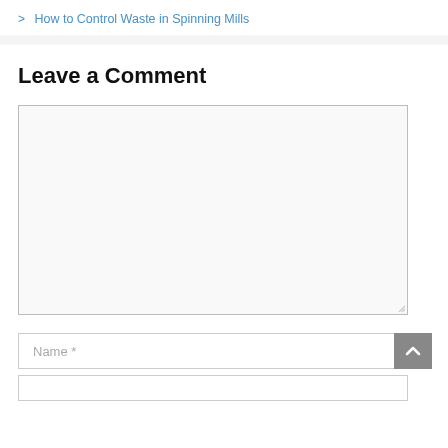> How to Control Waste in Spinning Mills
Leave a Comment
[Figure (screenshot): Empty comment textarea input box with resize handle]
[Figure (screenshot): Name input field with placeholder text 'Name *' and grey scroll-to-top button with upward chevron]
[Figure (screenshot): Bottom edge of another input field (likely email)]